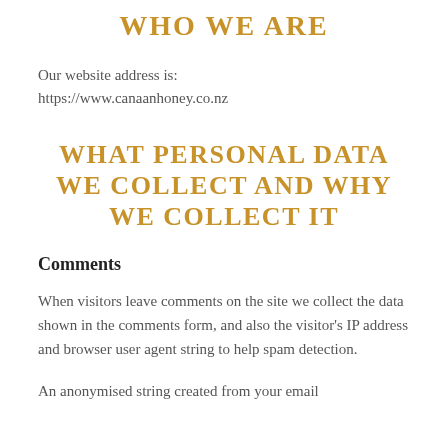WHO WE ARE
Our website address is:
https://www.canaanhoney.co.nz
WHAT PERSONAL DATA WE COLLECT AND WHY WE COLLECT IT
Comments
When visitors leave comments on the site we collect the data shown in the comments form, and also the visitor's IP address and browser user agent string to help spam detection.
An anonymised string created from your email